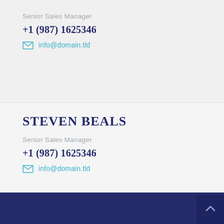Senior Sales Manager
+1 (987) 1625346
info@domain.tld
STEVEN BEALS
Senior Sales Manager
+1 (987) 1625346
info@domain.tld